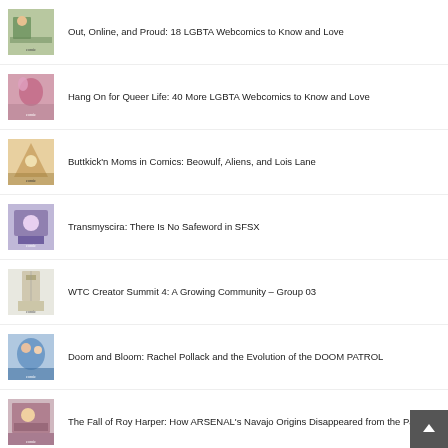Out, Online, and Proud: 18 LGBTA Webcomics to Know and Love
Hang On for Queer Life: 40 More LGBTA Webcomics to Know and Love
Buttkick'n Moms in Comics: Beowulf, Aliens, and Lois Lane
Transmyscira: There Is No Safeword in SFSX
WTC Creator Summit 4: A Growing Community – Group 03
Doom and Bloom: Rachel Pollack and the Evolution of the DOOM PATROL
The Fall of Roy Harper: How ARSENAL's Navajo Origins Disappeared from the Page
The Comics Classroom: AKIRA, a Cyberpunk Masterpiece